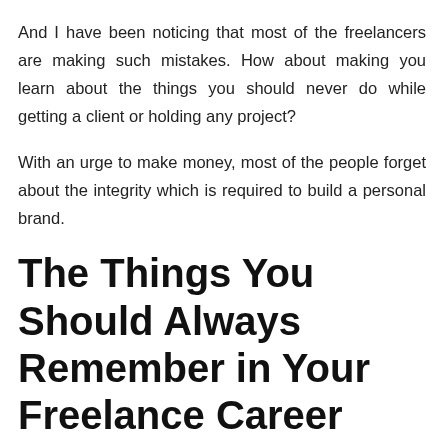And I have been noticing that most of the freelancers are making such mistakes. How about making you learn about the things you should never do while getting a client or holding any project?
With an urge to make money, most of the people forget about the integrity which is required to build a personal brand.
The Things You Should Always Remember in Your Freelance Career
You may be thinking as if something magical is going to get